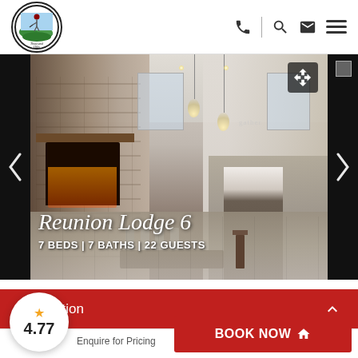[Figure (logo): Thousand Hills resort circular logo with golfer figure and green landscape]
[Figure (photo): Interior of Reunion Lodge 6 showing stone fireplace on left, long dining table in center, and kitchen with island on right. Pendant lights hang from ceiling. Sign reading 'gather' visible on wall.]
Reunion Lodge 6
7 BEDS | 7 BATHS | 22 GUESTS
Description
4.77
Enquire for Pricing
BOOK NOW 🏠